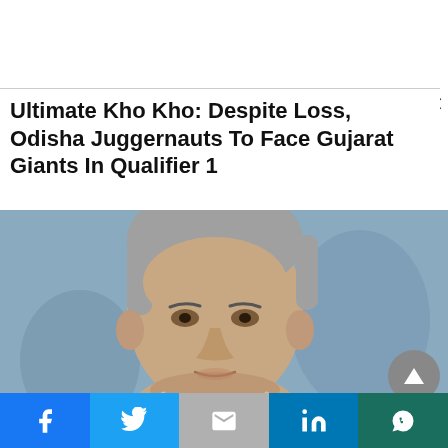Ultimate Kho Kho: Despite Loss, Odisha Juggernauts To Face Gujarat Giants In Qualifier 1
[Figure (photo): Close-up portrait photo of an elderly Indian man with grey hair, speaking, against a muted blue-grey background.]
[Figure (infographic): Social media share bar with five buttons: Facebook (blue), Twitter (light blue), Gmail/Email (grey), LinkedIn (dark blue), WhatsApp (dark green).]